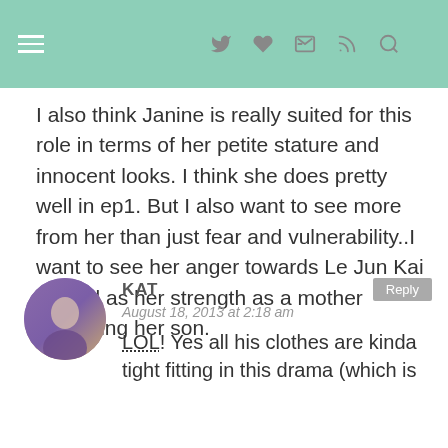≡ ♦ ♥ t ⊃ 🔍
I also think Janine is really suited for this role in terms of her petite stature and innocent looks. I think she does pretty well in ep1. But I also want to see more from her than just fear and vulnerability..I want to see her anger towards Le Jun Kai as well as her strength as a mother protecting her son.
KAT
August 18, 2013 at 2:18 am
LOL! Yes all his clothes are kinda tight fitting in this drama (which is